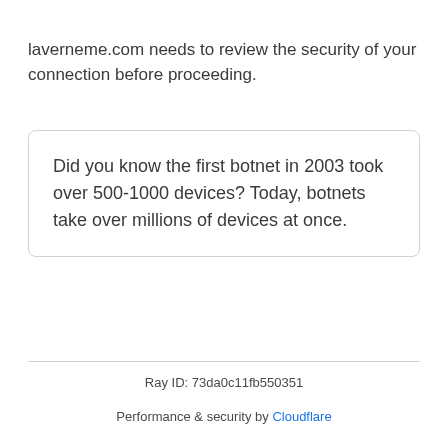laverneme.com needs to review the security of your connection before proceeding.
Did you know the first botnet in 2003 took over 500-1000 devices? Today, botnets take over millions of devices at once.
Ray ID: 73da0c11fb550351
Performance & security by Cloudflare